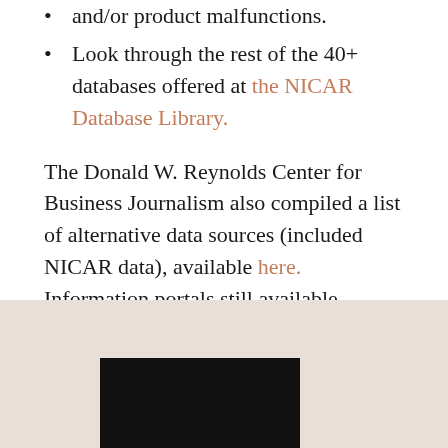and/or product malfunctions.
Look through the rest of the 40+ databases offered at the NICAR Database Library.
The Donald W. Reynolds Center for Business Journalism also compiled a list of alternative data sources (included NICAR data), available here. Information portals still available include EDGAR, PACER and FRED.
[Figure (photo): Black rectangular image at the bottom of the page in the footer area]